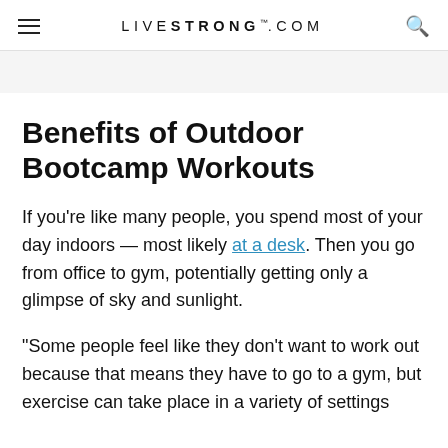LIVESTRONG.COM
Benefits of Outdoor Bootcamp Workouts
If you're like many people, you spend most of your day indoors — most likely at a desk. Then you go from office to gym, potentially getting only a glimpse of sky and sunlight.
"Some people feel like they don't want to work out because that means they have to go to a gym, but exercise can take place in a variety of settings